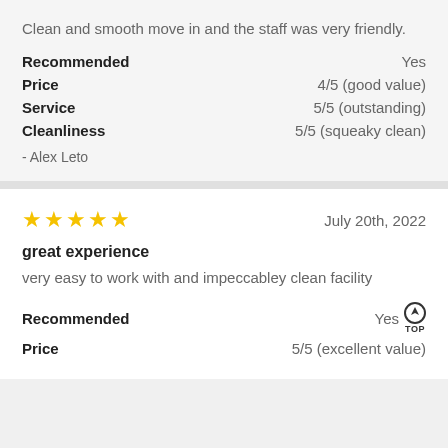Clean and smooth move in and the staff was very friendly.
Recommended    Yes
Price    4/5 (good value)
Service    5/5 (outstanding)
Cleanliness    5/5 (squeaky clean)
- Alex Leto
★★★★★    July 20th, 2022
great experience
very easy to work with and impeccabley clean facility
Recommended    Yes
Price    5/5 (excellent value)